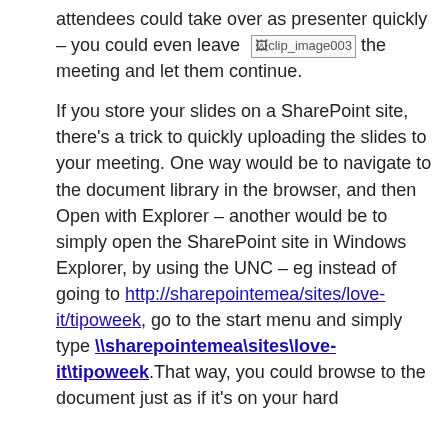attendees could take over as presenter quickly – you could even leave the meeting and let them continue.
[Figure (other): Broken image placeholder showing 'clip_image003']
If you store your slides on a SharePoint site, there's a trick to quickly uploading the slides to your meeting. One way would be to navigate to the document library in the browser, and then Open with Explorer – another would be to simply open the SharePoint site in Windows Explorer, by using the UNC – eg instead of going to http://sharepointemea/sites/love-it/tipoweek, go to the start menu and simply type \sharepointemea\sites\love-it\tipoweek.That way, you could browse to the document just as if it's on your hard